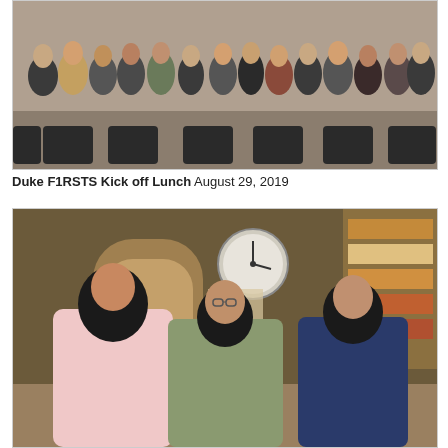[Figure (photo): Group photo of approximately 20 people standing together in a room with chairs, taken at Duke F1RSTS Kick off Lunch event on August 29, 2019.]
Duke F1RSTS Kick off Lunch August 29, 2019
[Figure (photo): Three people talking in what appears to be a library or lounge room with wooden doors, a clock on the wall, and bookshelves. Two younger women and one older woman with glasses are engaged in conversation.]